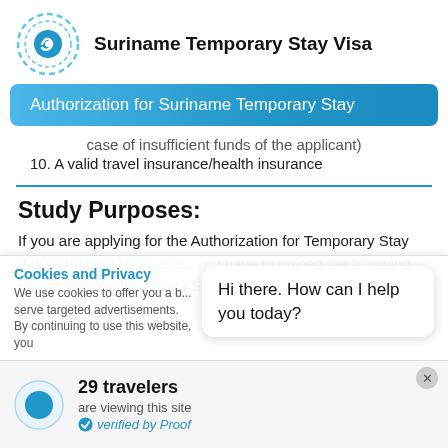Suriname Temporary Stay Visa
Authorization for Suriname Temporary Stay
case of insufficient funds of the applicant)
10. A valid travel insurance/health insurance
Study Purposes:
If you are applying for the Authorization for Temporary Stay (MKV) for study purposes, you have to upload the following documents for Temporary Stay
Cookies and Privacy
We use cookies to offer you a b... serve targeted advertisements. By continuing to use this website, you
Hi there. How can I help you today?
29 travelers
are viewing this site
verified by Proof